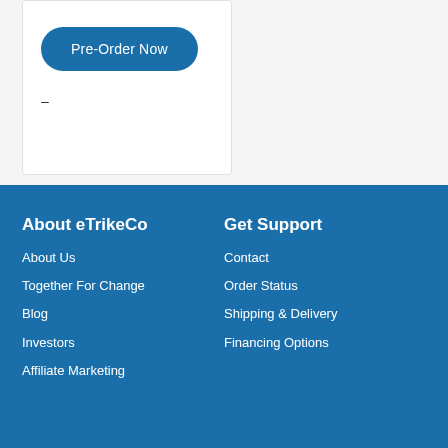[Figure (screenshot): Pre-Order Now button with blue pill shape on white card background]
–
About eTrikeCo
Get Support
About Us
Contact
Together For Change
Order Status
Blog
Shipping & Delivery
Investors
Financing Options
Affiliate Marketing